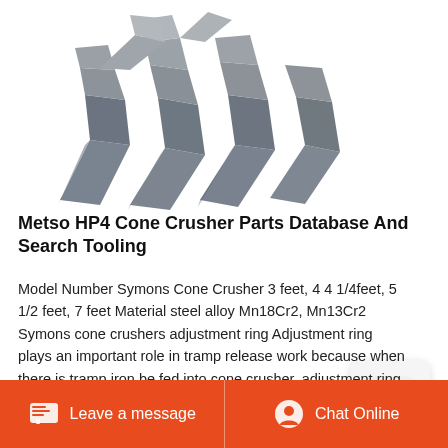[Figure (photo): Metal crusher parts/teeth - gray steel industrial components, cone crusher wear parts, viewed from above on white background]
Metso HP4 Cone Crusher Parts Database And Search Tooling
Model Number Symons Cone Crusher 3 feet, 4 4 1/4feet, 5 1/2 feet, 7 feet Material steel alloy Mn18Cr2, Mn13Cr2 Symons cone crushers adjustment ring Adjustment ring plays an important role in tramp release work because when there is tramp iron be fed into cone crusher, adjustment ring will be raised under condition that springs under ...
[Figure (logo): Rocket/notification icon in a rounded square widget]
Leave a message
Chat Online